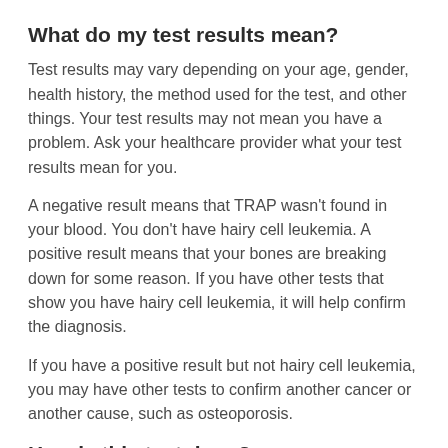What do my test results mean?
Test results may vary depending on your age, gender, health history, the method used for the test, and other things. Your test results may not mean you have a problem. Ask your healthcare provider what your test results mean for you.
A negative result means that TRAP wasn't found in your blood. You don't have hairy cell leukemia. A positive result means that your bones are breaking down for some reason. If you have other tests that show you have hairy cell leukemia, it will help confirm the diagnosis.
If you have a positive result but not hairy cell leukemia, you may have other tests to confirm another cancer or another cause, such as osteoporosis.
How is this test done?